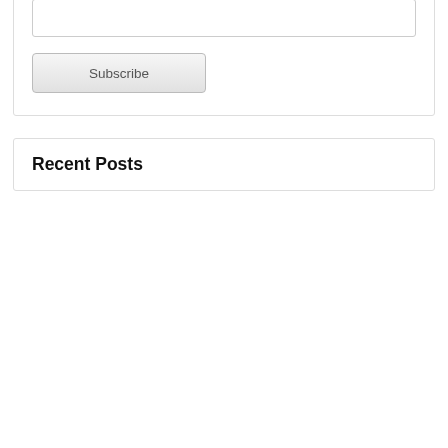[Figure (screenshot): Textarea input box (partially visible at top of page)]
[Figure (screenshot): reCAPTCHA widget with blue left panel showing 'protected by reCAPTCHA' text and Privacy/Terms links, and gray right panel with reCAPTCHA logo]
Submit Comment
Subscribe to Email Updates
Email*
[Figure (screenshot): Email input text field]
Subscribe
Recent Posts